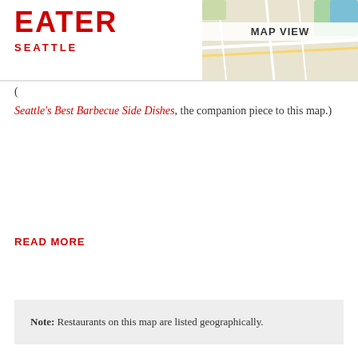EATER SEATTLE
[Figure (map): MAP VIEW label over a partial Google Maps-style street map background]
Seattle's Best Barbecue Side Dishes, the companion piece to this map.)
READ MORE
Note: Restaurants on this map are listed geographically.